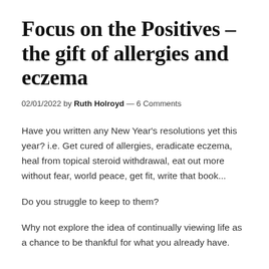Focus on the Positives – the gift of allergies and eczema
02/01/2022 by Ruth Holroyd — 6 Comments
Have you written any New Year's resolutions yet this year? i.e. Get cured of allergies, eradicate eczema, heal from topical steroid withdrawal, eat out more without fear, world peace, get fit, write that book...
Do you struggle to keep to them?
Why not explore the idea of continually viewing life as a chance to be thankful for what you already have.